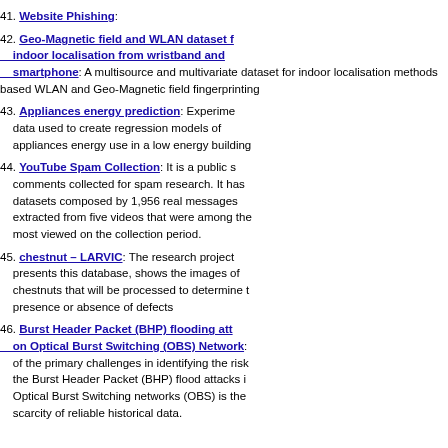41. Website Phishing:
42. Geo-Magnetic field and WLAN dataset for indoor localisation from wristband and smartphone: A multisource and multivariate dataset for indoor localisation methods based on WLAN and Geo-Magnetic field fingerprinting
43. Appliances energy prediction: Experimental data used to create regression models of appliances energy use in a low energy building
44. YouTube Spam Collection: It is a public set of comments collected for spam research. It has 5 datasets composed by 1,956 real messages extracted from five videos that were among the most viewed on the collection period.
45. chestnut – LARVIC: The research project that presents this database, shows the images of chestnuts that will be processed to determine the presence or absence of defects
46. Burst Header Packet (BHP) flooding attacks on Optical Burst Switching (OBS) Network: of the primary challenges in identifying the risk of the Burst Header Packet (BHP) flood attacks in Optical Burst Switching networks (OBS) is the scarcity of reliable historical data.